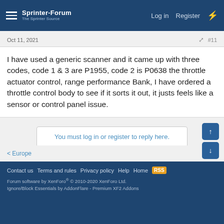Sprinter-Forum — The Sprinter Source | Log in | Register
Oct 11, 2021
#11
I have used a generic scanner and it came up with three codes, code 1 & 3 are P1955, code 2 is P0638 the throttle actuator control, range performance Bank, I have ordered a throttle control body to see if it sorts it out, it justs feels like a sensor or control panel issue.
You must log in or register to reply here.
< Europe
Contact us  Terms and rules  Privacy policy  Help  Home  [RSS]  Forum software by XenForo® © 2010-2020 XenForo Ltd. Ignore/Block Essentials by AddonFlare - Premium XF2 Addons